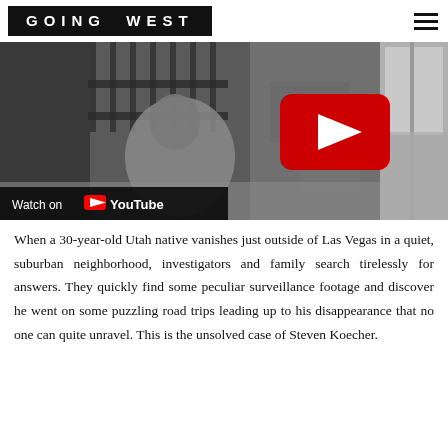GOING WEST
[Figure (screenshot): Black and white surveillance or security camera footage thumbnail showing a figure near a fence/gate area, with a YouTube play button overlay and 'Watch on YouTube' bar at the bottom left.]
When a 30-year-old Utah native vanishes just outside of Las Vegas in a quiet, suburban neighborhood, investigators and family search tirelessly for answers. They quickly find some peculiar surveillance footage and discover he went on some puzzling road trips leading up to his disappearance that no one can quite unravel. This is the unsolved case of Steven Koecher.